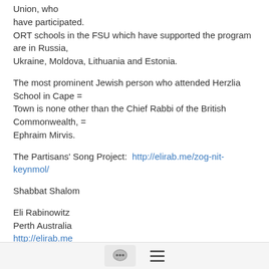Union, who have participated.
ORT schools in the FSU which have supported the program are in Russia,
Ukraine, Moldova, Lithuania and Estonia.
The most prominent Jewish person who attended Herzlia School in Cape =
Town is none other than the Chief Rabbi of the British Commonwealth, =
Ephraim Mirvis.
The Partisans' Song Project:  http://elirab.me/zog-nit-keynmol/
Shabbat Shalom
Eli Rabinowitz
Perth Australia
http://elirab.me
[Figure (other): Bottom navigation bar with chat bubble icon and hamburger menu icon]